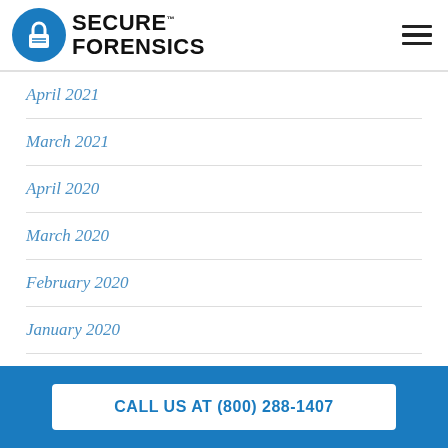Secure Forensics
April 2021
March 2021
April 2020
March 2020
February 2020
January 2020
December 2019
November 2019
CALL US AT (800) 288-1407